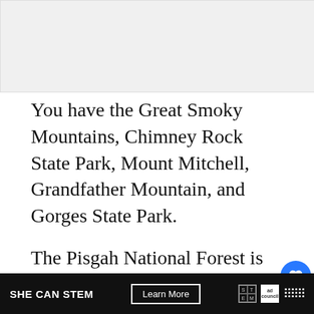[Figure (photo): Light gray image placeholder at the top of the page]
You have the Great Smoky Mountains, Chimney Rock State Park, Mount Mitchell, Grandfather Mountain, and Gorges State Park.
The Pisgah National Forest is one of North Carolina's most popular parks with more than 500,000 acres of forest.
You'll find many of the waterfalls and BRP hikes mentioned above here.
[Figure (infographic): Bottom advertisement bar: SHE CAN STEM with Learn More button, STEM logo, Ad Council logo, and media icon on black background]